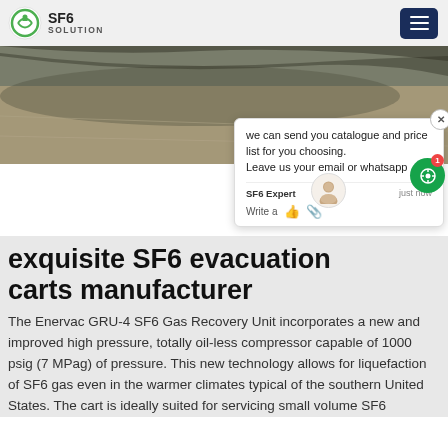SF6 SOLUTION
[Figure (photo): Outdoor concrete surface photograph, blurred industrial background with SF6 equipment area]
exquisite SF6 evacuation carts manufacturer
The Enervac GRU-4 SF6 Gas Recovery Unit incorporates a new and improved high pressure, totally oil-less compressor capable of 1000 psig (7 MPag) of pressure. This new technology allows for liquefaction of SF6 gas even in the warmer climates typical of the southern United States. The cart is ideally suited for servicing small volume SF6